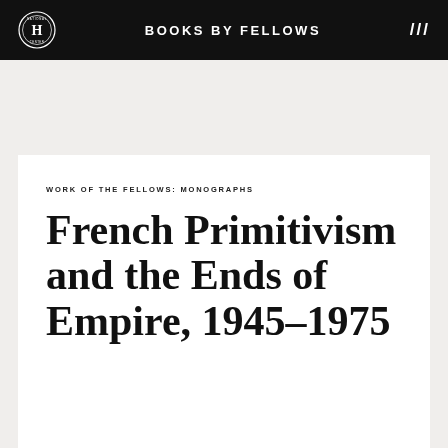BOOKS BY FELLOWS
WORK OF THE FELLOWS: MONOGRAPHS
French Primitivism and the Ends of Empire, 1945–1975